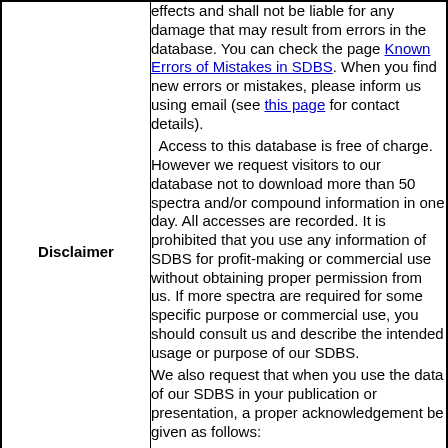| Disclaimer | effects and shall not be liable for any damage that may result from errors in the database. You can check the page Known Errors of Mistakes in SDBS. When you find new errors or mistakes, please inform us using email (see this page for contact details).
  Access to this database is free of charge. However we request visitors to our database not to download more than 50 spectra and/or compound information in one day. All accesses are recorded. It is prohibited that you use any information of SDBS for profit-making or commercial use without obtaining proper permission from us. If more spectra are required for some specific purpose or commercial use, you should consult us and describe the intended usage or purpose of our SDBS.
We also request that when you use the data of our SDBS in your publication or presentation, a proper acknowledgement be given as follows:
SDBSWeb : https://sdbs.db.aist.go.jp
(National Institute of Advanced Industrial Science and Technology, date of access) |